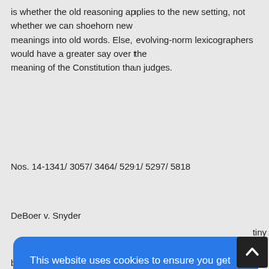is whether the old reasoning applies to the new setting, not whether we can shoehorn new meanings into old words. Else, evolving-norm lexicographers would have a greater say over the meaning of the Constitution than judges.
Nos. 14-1341/ 3057/ 3464/ 5291/ 5297/ 5818
DeBoer v. Snyder
[Figure (screenshot): Cookie consent overlay on a blue rounded rectangle background. Text reads: 'This website uses cookies to ensure you get the best experience on our website. Our partners will collect data and use cookies for ad personalization and measurement.' followed by a link 'Learn how we and our partners collect and use data.' and an OK button.]
beyond. For others, it